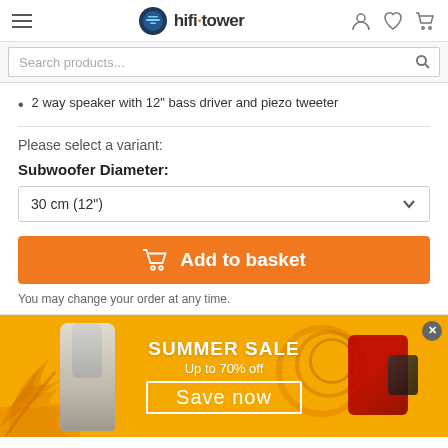hifi tower — navigation bar with hamburger menu, logo, user/wishlist/cart icons
Search products...
2 way speaker with 12" bass driver and piezo tweeter
Please select a variant:
Subwoofer Diameter:
30 cm (12")
Add to basket
You may change your order at any time.
[Figure (photo): Summer Sale promotional banner with orange/yellow background, palm leaf decorations, microphone and coffee machine product images, text: SUMMER SALE Up to 70% off — Save now]
SUMMER SALE
Up to 70% off
Save now